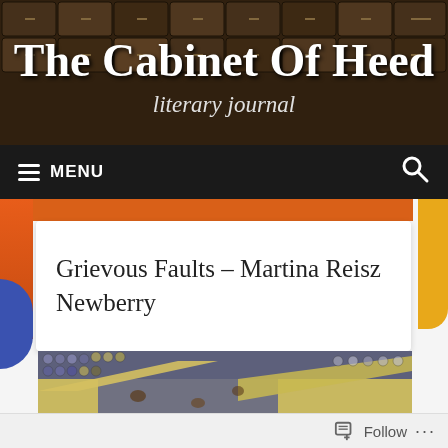[Figure (screenshot): The Cabinet of Heed literary journal website header with dark wood cabinet drawer background, white serif title text and italic subtitle]
MENU
Grievous Faults – Martina Reisz Newberry
[Figure (photo): Close-up photograph of blue, yellow, and grey mosaic or reptile scale pattern]
Follow